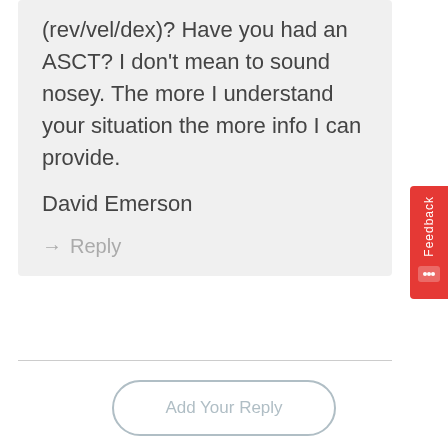(rev/vel/dex)? Have you had an ASCT? I don't mean to sound nosey. The more I understand your situation the more info I can provide.
David Emerson
→ Reply
Add Your Reply